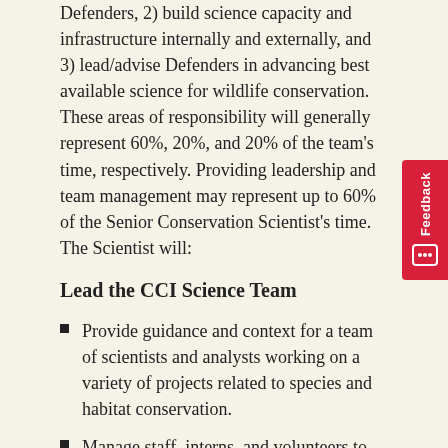Defenders, 2) build science capacity and infrastructure internally and externally, and 3) lead/advise Defenders in advancing best available science for wildlife conservation. These areas of responsibility will generally represent 60%, 20%, and 20% of the team's time, respectively. Providing leadership and team management may represent up to 60% of the Senior Conservation Scientist's time. The Scientist will:
Lead the CCI Science Team
Provide guidance and context for a team of scientists and analysts working on a variety of projects related to species and habitat conservation.
Manage staff, interns, and volunteers to ensure projects and tasks progress as organizational demands require.
Develop, coordinate, and enforce systems,